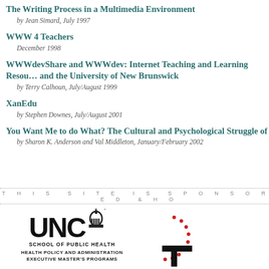The Writing Process in a Multimedia Environment
by Jean Simard, July 1997
WWW 4 Teachers
December 1998
WWWdevShare and WWWdev: Internet Teaching and Learning Resources and the University of New Brunswick
by Terry Calhoun, July/August 1999
XanEdu
by Stephen Downes, July/August 2001
You Want Me to do What? The Cultural and Psychological Struggle of
by Sharon K. Anderson and Val Middleton, January/February 2002
THIS SITE IS SPONSORED & HO
[Figure (logo): UNC School of Public Health logo with dome graphic]
HEALTH POLICY AND ADMINISTRATION
EXECUTIVE MASTER'S PROGRAMS
[Figure (logo): Partial C logo (right side cut off)]